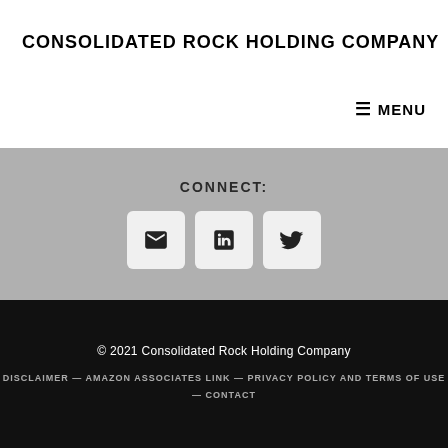CONSOLIDATED ROCK HOLDING COMPANY
≡ MENU
CONNECT:
[Figure (other): Three social media icon buttons: email, LinkedIn, Twitter]
© 2021 Consolidated Rock Holding Company
DISCLAIMER — AMAZON ASSOCIATES LINK — PRIVACY POLICY AND TERMS OF USE — CONTACT